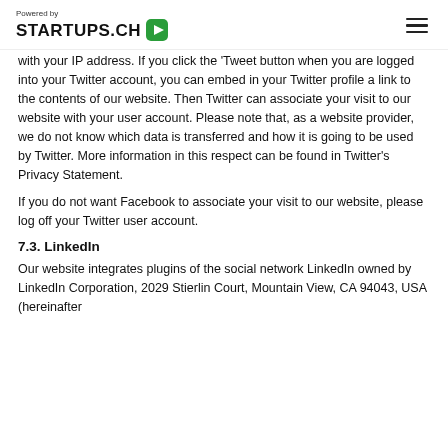Powered by STARTUPS.CH
with your IP address. If you click the 'Tweet button when you are logged into your Twitter account, you can embed in your Twitter profile a link to the contents of our website. Then Twitter can associate your visit to our website with your user account. Please note that, as a website provider, we do not know which data is transferred and how it is going to be used by Twitter. More information in this respect can be found in Twitter's Privacy Statement.
If you do not want Facebook to associate your visit to our website, please log off your Twitter user account.
7.3. LinkedIn
Our website integrates plugins of the social network LinkedIn owned by LinkedIn Corporation, 2029 Stierlin Court, Mountain View, CA 94043, USA (hereinafter